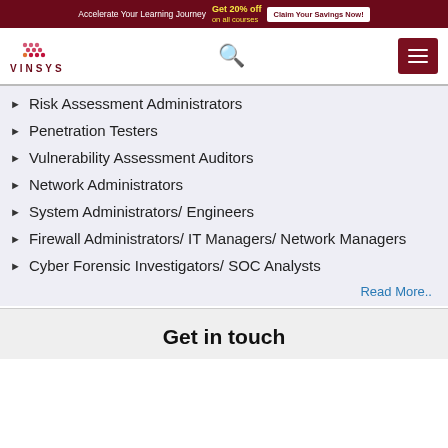Accelerate Your Learning Journey  Get 20% off on all courses  Claim Your Savings Now!
[Figure (logo): Vinsys logo with dot pattern and name]
Risk Assessment Administrators
Penetration Testers
Vulnerability Assessment Auditors
Network Administrators
System Administrators/ Engineers
Firewall Administrators/ IT Managers/ Network Managers
Cyber Forensic Investigators/ SOC Analysts
Read More..
Get in touch